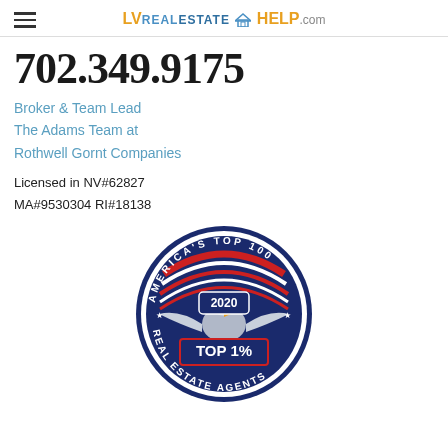LVrealestateHELP.com
702.349.9175
Broker & Team Lead
The Adams Team at
Rothwell Gornt Companies
Licensed in NV#62827
MA#9530304 RI#18138
[Figure (illustration): America's Top 100 Real Estate Agents 2020 Top 1% circular badge/seal with eagle and red, white, blue colors]